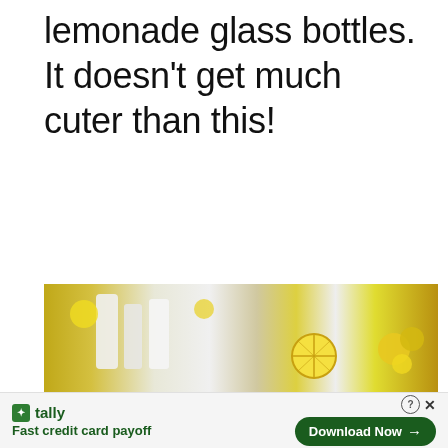lemonade glass bottles.  It doesn't get much cuter than this!
[Figure (photo): Partial photo of a lemonade party setup with yellow decorations, glassware, and lemon slices]
[Figure (other): Tally app advertisement banner with green branding, tagline 'Fast credit card payoff', and 'Download Now' button with close/help icons]